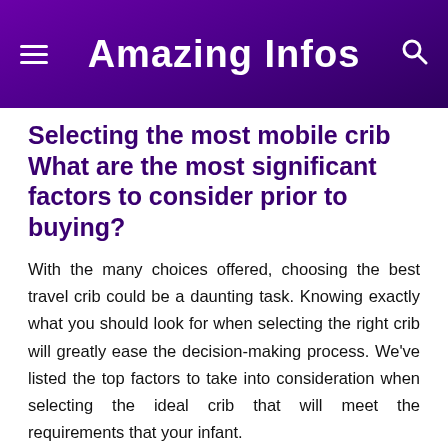Amazing Infos
Selecting the most mobile crib What are the most significant factors to consider prior to buying?
With the many choices offered, choosing the best travel crib could be a daunting task. Knowing exactly what you should look for when selecting the right crib will greatly ease the decision-making process. We've listed the top factors to take into consideration when selecting the ideal crib that will meet the requirements that your infant.
Safety
Be sure that the mattress is strong enough and strong